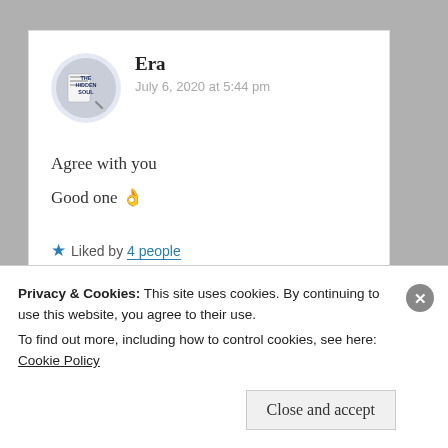[Figure (logo): Circular avatar with 'THE HIDDEN SOUL' text logo]
Era
July 6, 2020 at 5:44 pm
Agree with you
Good one 👌
★ Liked by 4 people
↪ Reply
Privacy & Cookies: This site uses cookies. By continuing to use this website, you agree to their use.
To find out more, including how to control cookies, see here: Cookie Policy
Close and accept